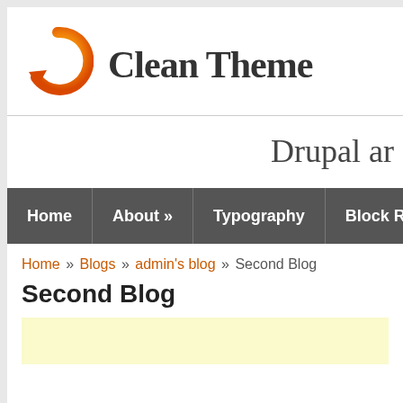[Figure (logo): Orange and yellow circular arrow logo for Clean Theme]
Clean Theme
Drupal an
Home | About » | Typography | Block Regions
Home » Blogs » admin's blog » Second Blog
Second Blog